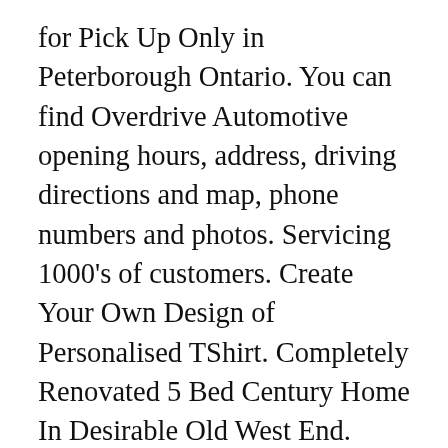for Pick Up Only in Peterborough Ontario. You can find Overdrive Automotive opening hours, address, driving directions and map, phone numbers and photos. Servicing 1000's of customers. Create Your Own Design of Personalised TShirt. Completely Renovated 5 Bed Century Home In Desirable Old West End. 1984 and made in Japan. - 1 Paw Patrol sweater and sweatpants outfit - 1 hockey player sweater and sweatpants outfit - tuxedo t-shirt and pants outfit - 1 light sweater - 1 pants brand new with tags - 1 sweater and diaper shirt outfit brand new with tags = 10 items total Filing history for TOTAL CLOTHING LTD. (06255435) People for TOTAL CLOTHING LTD.